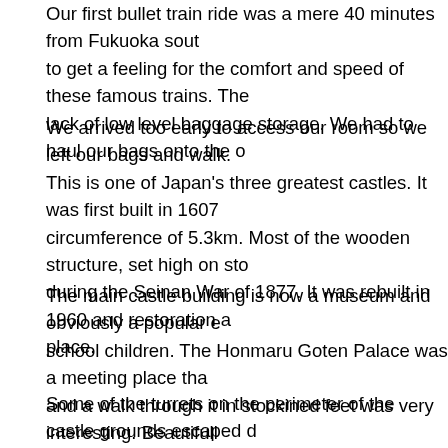Our first bullet train ride was a mere 40 minutes from Fukuoka south to get a feeling for the comfort and speed of these famous trains. The lack of low level baggage storage. We had to haul our bags onto the o
We arrived too early to access our room so we left our bags and walk. This is one of Japan's three greatest castles. It was first built in 1607 circumference of 5.3km. Most of the wooden structure, set high on sto during the Seinan War of 1877. It was rebuilt in 1960 and restoration a place.
The main castle building is now a museum and obviously a popular e school children. The Honmaru Goten Palace was a meeting place tha and a walk through it in stockined feet was very interesting. Beautifull us in awe.
Some of the turrets on the perimeter of the castle grounds escaped d solemn looking guard enthusiastically invited us into one of the turrets the stone foundations so that conventional ammunition could be fired the numerous peepholes and screened windows. The turret is a large ammunition and soldiers during times of conflict.
We took an entertaining walk through the parkland where senior scho the moat and a group of senior school girls were trying the Toyota jum